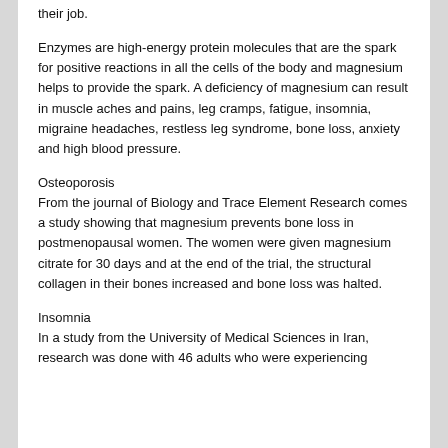their job.
Enzymes are high-energy protein molecules that are the spark for positive reactions in all the cells of the body and magnesium helps to provide the spark. A deficiency of magnesium can result in muscle aches and pains, leg cramps, fatigue, insomnia, migraine headaches, restless leg syndrome, bone loss, anxiety and high blood pressure.
Osteoporosis
From the journal of Biology and Trace Element Research comes a study showing that magnesium prevents bone loss in postmenopausal women. The women were given magnesium citrate for 30 days and at the end of the trial, the structural collagen in their bones increased and bone loss was halted.
Insomnia
In a study from the University of Medical Sciences in Iran, research was done with 46 adults who were experiencing